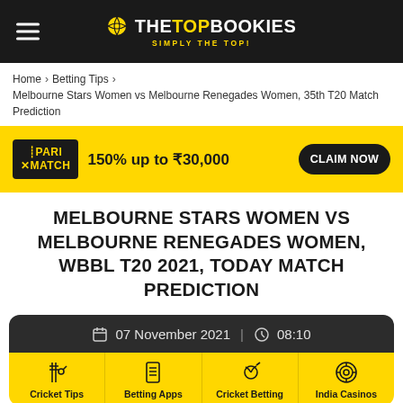THE TOP BOOKIES — SIMPLY THE TOP!
Home > Betting Tips > Melbourne Stars Women vs Melbourne Renegades Women, 35th T20 Match Prediction
[Figure (infographic): Parimatch promo banner: 150% up to ₹30,000 — CLAIM NOW]
MELBOURNE STARS WOMEN VS MELBOURNE RENEGADES WOMEN, WBBL T20 2021, TODAY MATCH PREDICTION
07 November 2021 | 08:10
[Figure (infographic): Bottom navigation bar with four icons: Cricket Tips, Betting Apps, Cricket Betting, India Casinos]